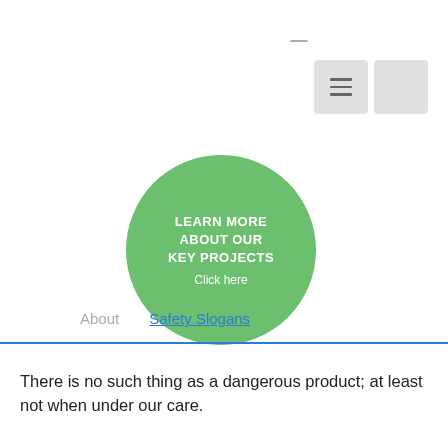[Figure (other): Green circular button with white uppercase text 'LEARN MORE ABOUT OUR KEY PROJECTS' and 'Click here']
[Figure (screenshot): Navigation bar UI elements: hamburger menu button (three horizontal lines) and a plain square button, both light gray]
About    Safety Slogans
There is no such thing as a dangerous product; at least not when under our care.